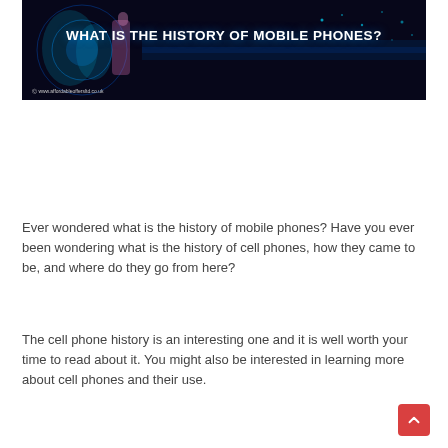[Figure (illustration): Dark banner image with blue glowing digital/tech illustration in the background. Bold white text reads 'WHAT IS THE HISTORY OF MOBILE PHONES?' and a URL www.affordableoffersltd.co.uk appears at the bottom left.]
Ever wondered what is the history of mobile phones? Have you ever been wondering what is the history of cell phones, how they came to be, and where do they go from here?
The cell phone history is an interesting one and it is well worth your time to read about it. You might also be interested in learning more about cell phones and their use.